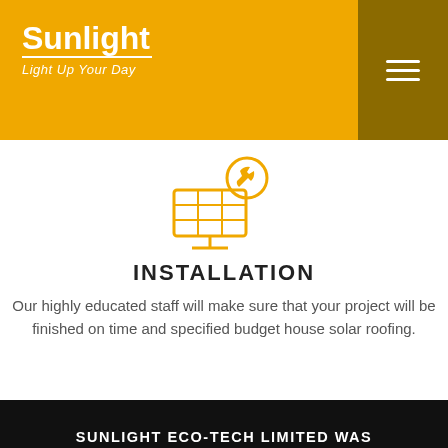Sunlight - Light Up Your Day
[Figure (illustration): Orange icon of a solar panel with a wrench/gear overlay, representing installation services]
INSTALLATION
Our highly educated staff will make sure that your project will be finished on time and specified budget house solar roofing.
SUNLIGHT ECO-TECH LIMITED WAS ESTABLISHED IN 2009 AND HEADQUARTERED IN HONG KONG SCIENCE PARK, SHA TIN, HONG KONG.
Booking System